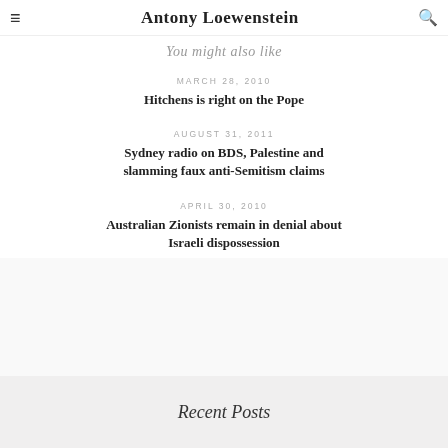Antony Loewenstein
You might also like
MARCH 28, 2010
Hitchens is right on the Pope
AUGUST 31, 2011
Sydney radio on BDS, Palestine and slamming faux anti-Semitism claims
APRIL 30, 2010
Australian Zionists remain in denial about Israeli dispossession
Recent Posts